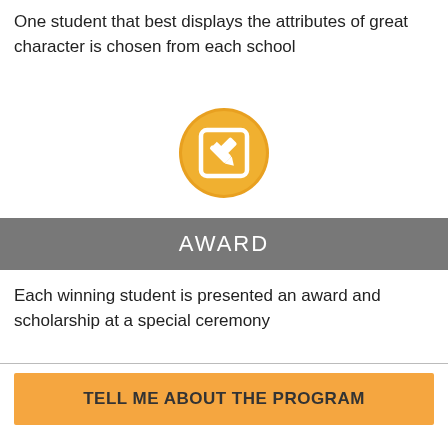One student that best displays the attributes of great character is chosen from each school
[Figure (illustration): Gold/orange circular icon with a white edit/pencil-in-checkbox symbol]
AWARD
Each winning student is presented an award and scholarship at a special ceremony
TELL ME ABOUT THE PROGRAM